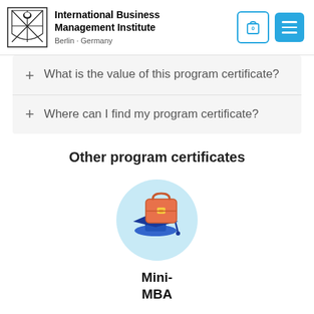International Business Management Institute · Berlin · Germany
+ What is the value of this program certificate?
+ Where can I find my program certificate?
Other program certificates
[Figure (illustration): Circular illustration with a light blue background showing a graduation cap and an orange briefcase, representing the Mini-MBA program certificate.]
Mini-
MBA